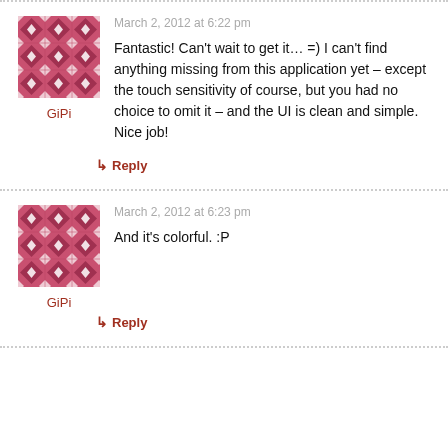[Figure (illustration): Decorative avatar image for user GiPi — pink/red geometric diamond pattern tile]
GiPi
March 2, 2012 at 6:22 pm
Fantastic! Can't wait to get it… =) I can't find anything missing from this application yet – except the touch sensitivity of course, but you had no choice to omit it – and the UI is clean and simple. Nice job!
↳ Reply
[Figure (illustration): Decorative avatar image for user GiPi — pink/red geometric diamond pattern tile]
GiPi
March 2, 2012 at 6:23 pm
And it's colorful. :P
↳ Reply